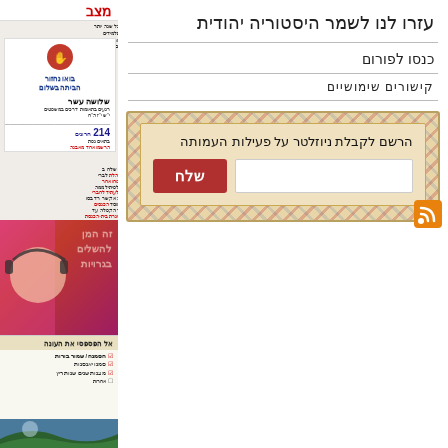עזרו לנו לשמר היסטוריה יהודית
כנסו לפורום
קישורים שימושיים
[Figure (infographic): Newsletter signup box with Hebrew text 'הרשם לקבלת ניוזלטר על פעילות העמותה', a red submit button labeled 'שלח', and an input field, styled as an airmail envelope with diagonal stripe border and RSS icon]
[Figure (photo): Left column Hebrew newspaper page showing masthead 'מצב', advertisement with red circle and hand graphic, text columns, 214 statistic, photo of woman with headphones, and bottom advertisement]
הרשם לקבלת ניוזלטר על פעילות העמותה
שלח